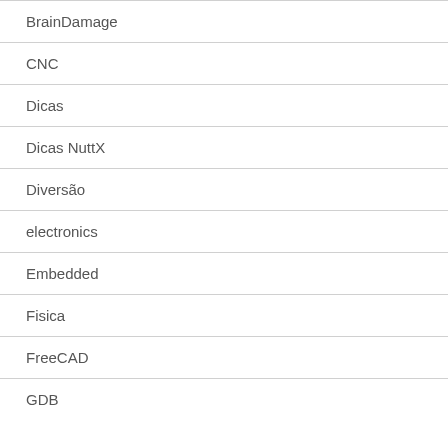BrainDamage
CNC
Dicas
Dicas NuttX
Diversão
electronics
Embedded
Fisica
FreeCAD
GDB